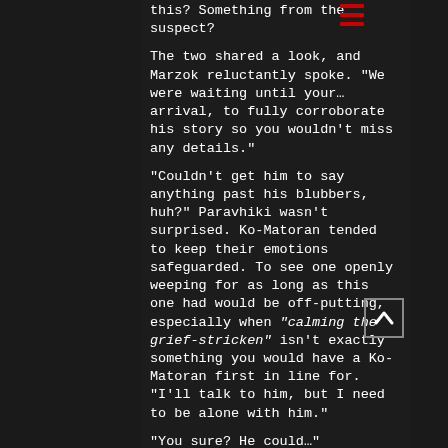this? Something from the suspect?
The two shared a look, and Marzok reluctantly spoke. "We were waiting until your... arrival, to fully corroborate his story so you wouldn't miss any details."
"Couldn't get him to say anything past his blubbers, huh?" Paravhiki wasn't surprised. Ko-Matoran tended to keep their emotions safeguarded. To see one openly weeping for as long as this one had would be off-putting, especially when “calming the grief-stricken” isn't exactly something you would have a Ko-Matoran first in line for. "I'll talk to him, but I need to be alone with him."
"You sure? He could..."